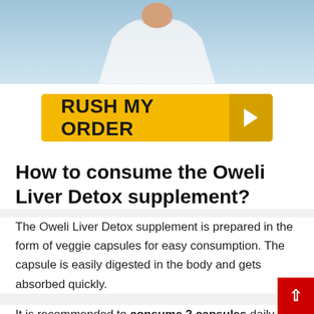[Figure (photo): Photo of a person in a white coat or white shirt, cropped showing torso/lower neck area against a blue background]
[Figure (infographic): Yellow 'RUSH MY ORDER' call-to-action button with dark arrow on the right side]
How to consume the Oweli Liver Detox supplement?
The Oweli Liver Detox supplement is prepared in the form of veggie capsules for easy consumption. The capsule is easily digested in the body and gets absorbed quickly.
It is recommended to consume 2 capsules daily with adequate water to support healthy liver function. For best results, it is suggested to